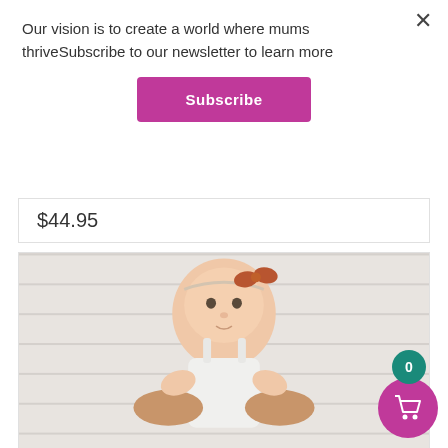Our vision is to create a world where mums thriveSubscribe to our newsletter to learn more
Subscribe
$44.95
[Figure (photo): Baby girl wearing a white knit romper and a rust-colored bow headband, being held by adult hands against a white shiplap background.]
0